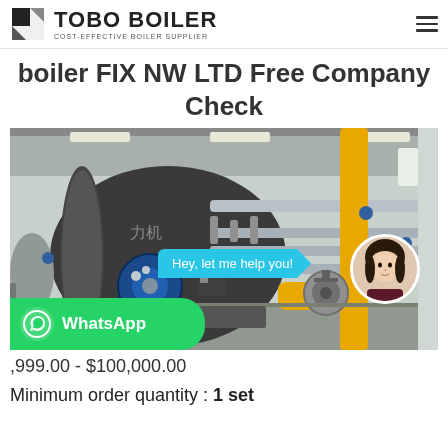TOBO BOILER — COST-EFFECTIVE BOILER SUPPLIER
boiler FIX NW LTD Free Company Check
[Figure (photo): Industrial boiler room showing large cylindrical boiler with blue hose reel, yellow gas pipes, and piping. Overlay: chat bubble 'Hey, let me help you!' and a female avatar. WhatsApp button at bottom left.]
,999.00 - $100,000.00
Minimum order quantity : 1 set